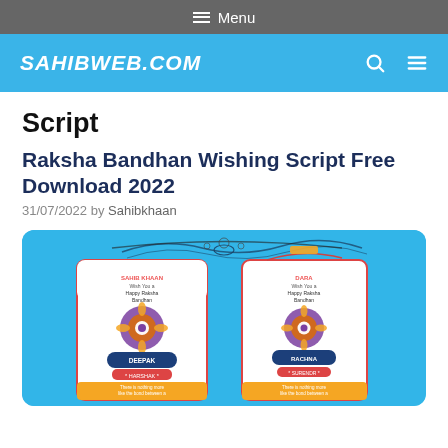≡ Menu
SAHIBWEB.COM
Script
Raksha Bandhan Wishing Script Free Download 2022
31/07/2022 by Sahibkhaan
[Figure (illustration): Raksha Bandhan wishing script preview showing two mobile phone screenshots with festive rakhi designs, names, and greeting text on a teal/cyan background with decorative elements]